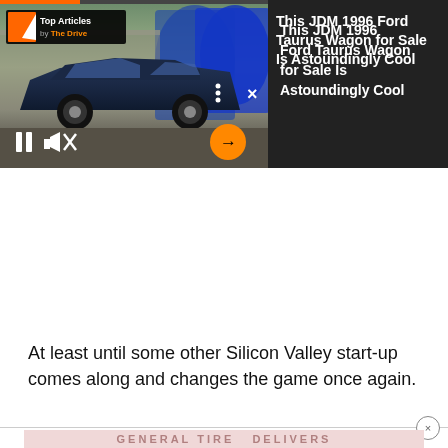[Figure (screenshot): Video player showing a dark blue JDM Ford Taurus Wagon parked in front of blue industrial tanks. Overlay shows 'Top Articles by The Drive' badge, pause and mute controls, three-dot menu, X close button, and orange arrow button. Progress bar at top.]
This JDM 1996 Ford Taurus Wagon for Sale Is Astoundingly Cool
At least until some other Silicon Valley start-up comes along and changes the game once again.
[Figure (advertisement): General Tire DELIVERS advertisement banner with pink/light red background]